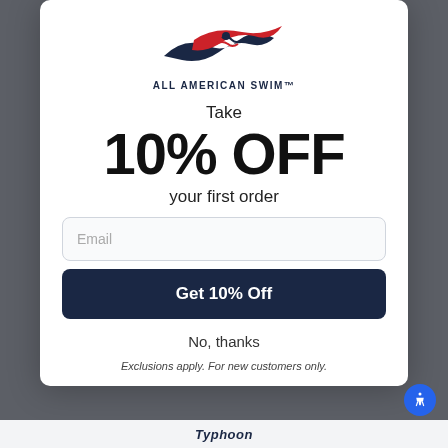[Figure (logo): All American Swim logo with red and navy wave/swimmer graphic above the text ALL AMERICAN SWIM]
Take
10% OFF
your first order
Email (input field placeholder)
Get 10% Off
No, thanks
Exclusions apply. For new customers only.
Typhoon